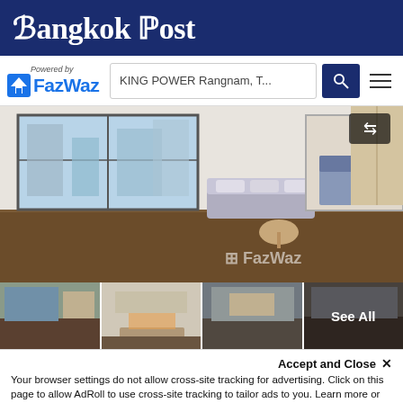Bangkok Post
[Figure (logo): FazWaz logo with 'Powered by' text above and house icon]
KING POWER Rangnam, T...
[Figure (photo): Interior of a modern furnished studio apartment with large floor-to-ceiling windows, dark wood floors, a sofa, small table, and view into a bedroom with blue bedding. FazWaz watermark visible. Arrow button in top-right.]
[Figure (photo): Thumbnail strip showing 4 interior photos of the same apartment. The last thumbnail has a 'See All' overlay.]
Accept and Close ✕
Your browser settings do not allow cross-site tracking for advertising. Click on this page to allow AdRoll to use cross-site tracking to tailor ads to you. Learn more or opt out of this AdRoll tracking by clicking here. This message only appears once.